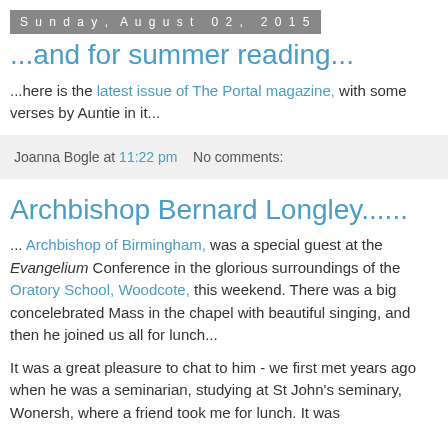Sunday, August 02, 2015
...and for summer reading...
...here is the latest issue of The Portal magazine, with some verses by Auntie in it...
Joanna Bogle at 11:22 pm   No comments:
Archbishop Bernard Longley......
... Archbishop of Birmingham, was a special guest at the Evangelium Conference in the glorious surroundings of the Oratory School, Woodcote, this weekend. There was a big concelebrated Mass in the chapel with beautiful singing, and then he joined us all for lunch...
It was a great pleasure to chat to him - we first met years ago when he was a seminarian, studying at St John's seminary, Wonersh, where a friend took me for lunch. It was